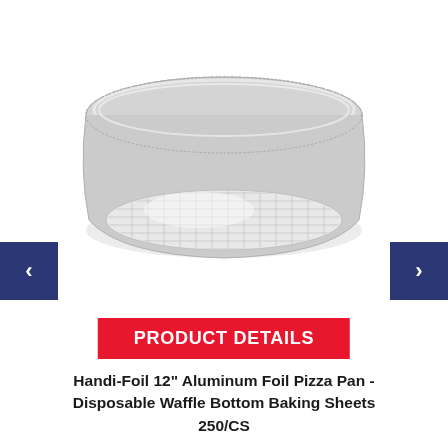[Figure (photo): Round aluminum foil pizza pan with waffle bottom pattern, viewed from above at an angle showing the ribbed rim and cross-hatched bottom surface.]
PRODUCT DETAILS
Handi-Foil 12" Aluminum Foil Pizza Pan - Disposable Waffle Bottom Baking Sheets 250/CS